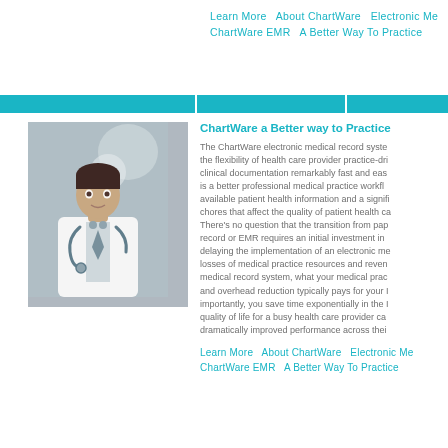Learn More   About ChartWare   Electronic Medical Records
ChartWare EMR   A Better Way To Practice
[Figure (photo): Photo of a male doctor wearing a white coat and stethoscope, looking at the camera, with medical lighting equipment in the background.]
ChartWare a Better way to Practice
The ChartWare electronic medical record system provides the flexibility of health care provider practice-driven clinical documentation remarkably fast and easy. There is a better professional medical practice workflow, available patient health information and a significant reduction in chores that affect the quality of patient health care. There's no question that the transition from paper to electronic record or EMR requires an initial investment in time and money, delaying the implementation of an electronic medical record losses of medical practice resources and revenue. With our medical record system, what your medical practice saves in time and overhead reduction typically pays for your EMR. Most importantly, you save time exponentially in the long run. The quality of life for a busy health care provider can be significantly dramatically improved performance across their practice.
Learn More   About ChartWare   Electronic Medical Records
ChartWare EMR   A Better Way To Practice